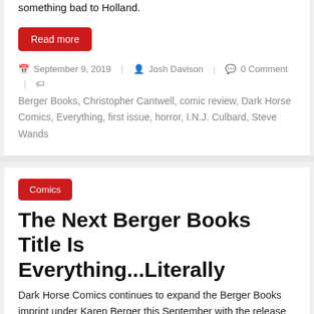something bad to Holland.
Read more
September 9, 2019  Josh Davison  0 Comment
Berger Books, Christopher Cantwell, comic review, Dark Horse Comics, Everything, first issue, horror, I.N.J. Culbard, Steve Wands
Comics
The Next Berger Books Title Is Everything...Literally
Dark Horse Comics continues to expand the Berger Books imprint under Karen Berger this September with the release of Everything.
Read more